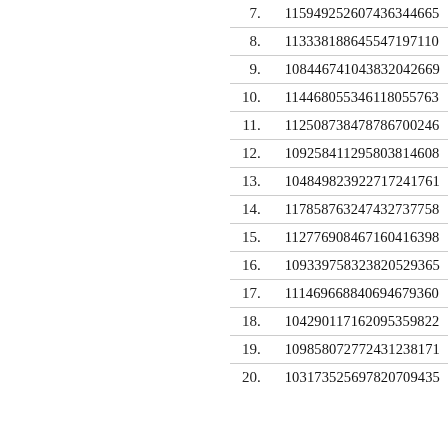| # | Value |
| --- | --- |
| 7. | 115949252607436344665 |
| 8. | 113338188645547197110 |
| 9. | 108446741043832042669 |
| 10. | 114468055346118055763 |
| 11. | 112508738478786700246 |
| 12. | 109258411295803814608 |
| 13. | 104849823922717241761 |
| 14. | 117858763247432737758 |
| 15. | 112776908467160416398 |
| 16. | 109339758323820529365 |
| 17. | 111469668840694679360 |
| 18. | 104290117162095359822 |
| 19. | 109858072772431238171 |
| 20. | 103173525697820709435 |